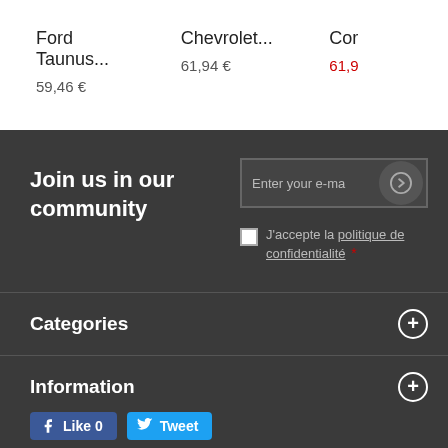Ford Taunus...
59,46 €
Chevrolet...
61,94 €
Cor
61,9
Join us in our community
Enter your e-ma
J'accepte la politique de confidentialité *
Categories
Information
[Figure (infographic): Social media buttons: Facebook Like 0 and Twitter Tweet]
My account